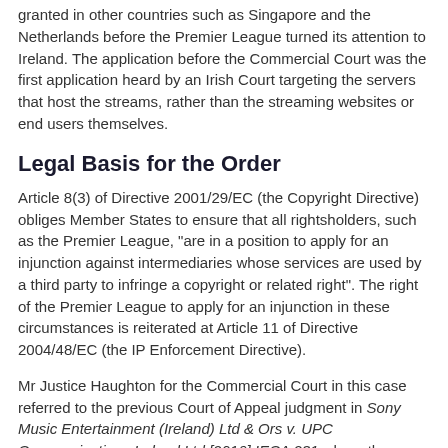granted in other countries such as Singapore and the Netherlands before the Premier League turned its attention to Ireland. The application before the Commercial Court was the first application heard by an Irish Court targeting the servers that host the streams, rather than the streaming websites or end users themselves.
Legal Basis for the Order
Article 8(3) of Directive 2001/29/EC (the Copyright Directive) obliges Member States to ensure that all rightsholders, such as the Premier League, "are in a position to apply for an injunction against intermediaries whose services are used by a third party to infringe a copyright or related right". The right of the Premier League to apply for an injunction in these circumstances is reiterated at Article 11 of Directive 2004/48/EC (the IP Enforcement Directive).
Mr Justice Haughton for the Commercial Court in this case referred to the previous Court of Appeal judgment in Sony Music Entertainment (Ireland) Ltd & Ors v. UPC Communications Ireland Ltd [2016] IECA 231 where the relevant legal test for the granting of such blocking orders was set: